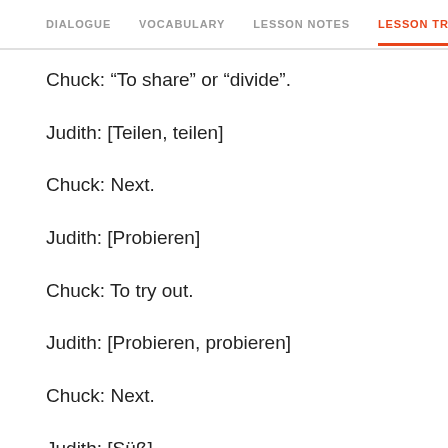DIALOGUE  VOCABULARY  LESSON NOTES  LESSON TRANSCRIPT
Chuck: “To share” or “divide”.
Judith: [Teilen, teilen]
Chuck: Next.
Judith: [Probieren]
Chuck: To try out.
Judith: [Probieren, probieren]
Chuck: Next.
Judith: [Süß]